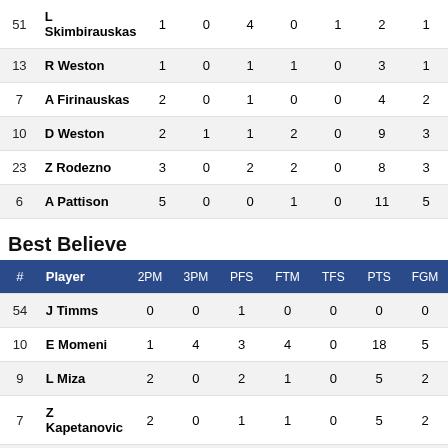| # | Player | 2PM | 3PM | PFS | FTM | TFS | PTS | FGM |
| --- | --- | --- | --- | --- | --- | --- | --- | --- |
| 51 | L Skimbirauskas | 1 | 0 | 4 | 0 | 1 | 2 | 1 |
| 13 | R Weston | 1 | 0 | 1 | 1 | 0 | 3 | 1 |
| 7 | A Firinauskas | 2 | 0 | 1 | 0 | 0 | 4 | 2 |
| 10 | D Weston | 2 | 1 | 1 | 2 | 0 | 9 | 3 |
| 23 | Z Rodezno | 3 | 0 | 2 | 2 | 0 | 8 | 3 |
| 6 | A Pattison | 5 | 0 | 0 | 1 | 0 | 11 | 5 |
Best Believe
| # | Player | 2PM | 3PM | PFS | FTM | TFS | PTS | FGM |
| --- | --- | --- | --- | --- | --- | --- | --- | --- |
| 54 | J Timms | 0 | 0 | 1 | 0 | 0 | 0 | 0 |
| 10 | E Momeni | 1 | 4 | 3 | 4 | 0 | 18 | 5 |
| 9 | L Miza | 2 | 0 | 2 | 1 | 0 | 5 | 2 |
| 7 | Z Kapetanovic | 2 | 0 | 1 | 1 | 0 | 5 | 2 |
| 24 | M D Guglielmo | 2 | 1 | 2 | 0 | 0 | 7 | 3 |